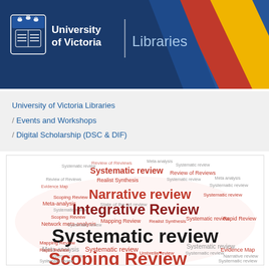[Figure (logo): University of Victoria Libraries header banner with blue background, logo shield, university name, and diagonal colored stripes (blue, red, yellow) on the right side]
University of Victoria Libraries
/ Events and Workshops
/ Digital Scholarship (DSC & DIF)
[Figure (infographic): Word cloud featuring various types of literature reviews. Largest words: Systematic review (black, largest), Scoping Review (red, large), Integrative Review (dark red, large), Narrative review (red, medium-large). Also includes: Meta-analysis, Network meta-analysis, Mapping Review, Rapid Review, Evidence Map, Realist Synthesis, Review of Reviews, Umbrella review, and many repetitions of these terms in smaller sizes.]